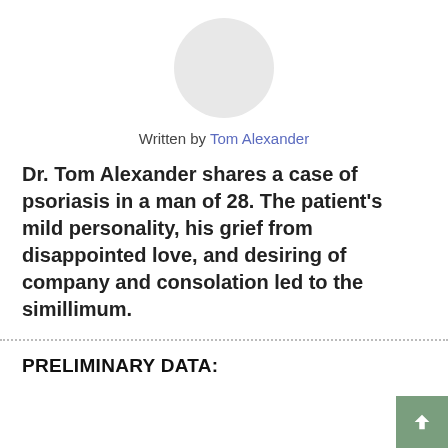[Figure (photo): Circular avatar placeholder (gray circle) representing the author Tom Alexander]
Written by Tom Alexander
Dr. Tom Alexander shares a case of psoriasis in a man of 28. The patient's mild personality, his grief from disappointed love, and desiring of company and consolation led to the simillimum.
PRELIMINARY DATA: